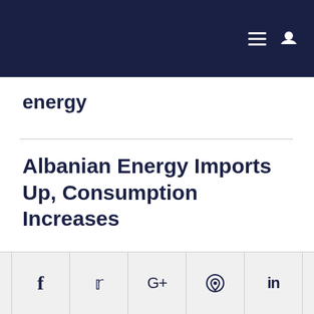Navigation bar with hamburger menu and user icon
energy
Albanian Energy Imports Up, Consumption Increases
Social share buttons: Facebook, Twitter, Google+, WhatsApp, LinkedIn